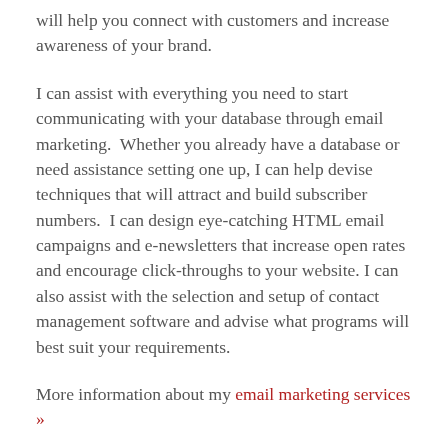will help you connect with customers and increase awareness of your brand.
I can assist with everything you need to start communicating with your database through email marketing.  Whether you already have a database or need assistance setting one up, I can help devise techniques that will attract and build subscriber numbers.  I can design eye-catching HTML email campaigns and e-newsletters that increase open rates and encourage click-throughs to your website. I can also assist with the selection and setup of contact management software and advise what programs will best suit your requirements.
More information about my email marketing services »
Learn Social Media Course North Sydney